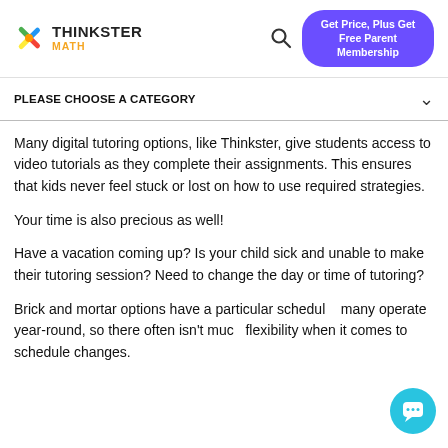[Figure (logo): Thinkster Math logo with colorful star icon, text THINKSTER in dark and MATH in orange]
[Figure (other): Search icon (magnifying glass) and a purple rounded button saying 'Get Price, Plus Get Free Parent Membership']
PLEASE CHOOSE A CATEGORY
Many digital tutoring options, like Thinkster, give students access to video tutorials as they complete their assignments. This ensures that kids never feel stuck or lost on how to use required strategies.
Your time is also precious as well!
Have a vacation coming up? Is your child sick and unable to make their tutoring session? Need to change the day or time of tutoring?
Brick and mortar options have a particular schedule, many operate year-round, so there often isn't much flexibility when it comes to schedule changes.